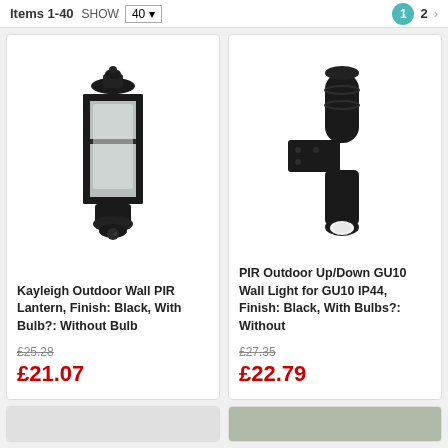Items 1-40  SHOW  40  1  2  >
[Figure (photo): Kayleigh Outdoor Wall PIR Lantern in black finish]
Kayleigh Outdoor Wall PIR Lantern, Finish: Black, With Bulb?: Without Bulb
£25.28
£21.07
[Figure (photo): PIR Outdoor Up/Down GU10 Wall Light in black finish with motion sensor]
PIR Outdoor Up/Down GU10 Wall Light for GU10 IP44, Finish: Black, With Bulbs?: Without
£27.35
£22.79